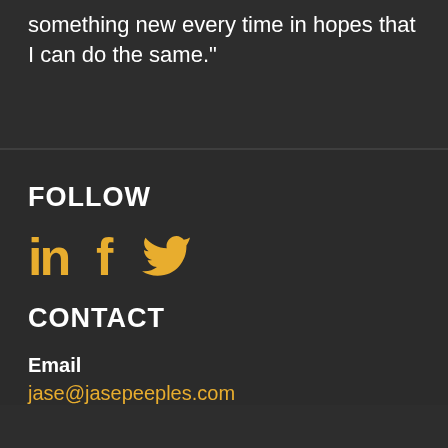something new every time in hopes that I can do the same."
FOLLOW
[Figure (illustration): Three social media icons in gold/yellow: LinkedIn (in), Facebook (f), Twitter (bird)]
CONTACT
Email
jase@jasepeeples.com